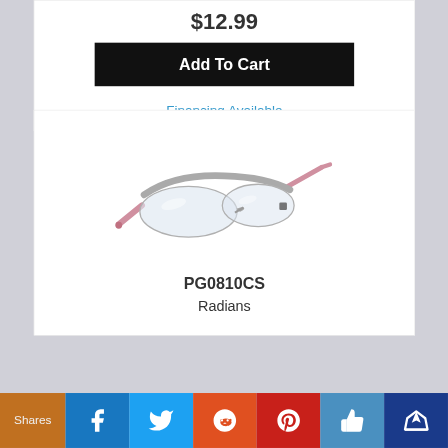$12.99
Add To Cart
Financing Available
[Figure (photo): Safety glasses with gray frame and pink temples/arms, clear lenses — product PG0810CS by Radians]
PG0810CS
Radians
Shares